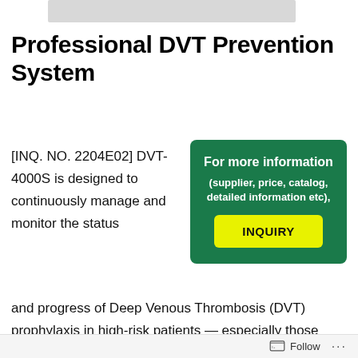[Figure (other): Gray rectangular bar at the top of the page, likely a cropped image placeholder]
Professional DVT Prevention System
[INQ. NO. 2204E02] DVT-4000S is designed to continuously manage and monitor the status and progress of Deep Venous Thrombosis (DVT) prophylaxis in high-risk patients — especially those requiring long-term preventive treatment at home after
[Figure (infographic): Green rounded rectangle box with white text 'For more information (supplier, price, catalog, detailed information etc),' and a yellow INQUIRY button]
Follow ...